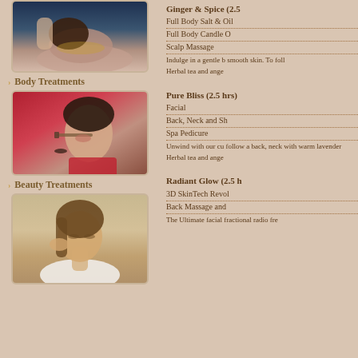[Figure (photo): Woman receiving body treatment / oil massage on back]
Body Treatments
[Figure (photo): Woman having eye makeup applied with a brush]
Beauty Treatments
[Figure (photo): Woman posing with hand near face, white top]
Ginger & Spice (2.5
Full Body Salt & Oil
Full Body Candle O
Scalp Massage
Indulge in a gentle b smooth skin. To foll
Herbal tea and ange
Pure Bliss (2.5 hrs)
Facial
Back, Neck and Sh
Spa Pedicure
Unwind with our cu follow a back, neck with warm lavender
Herbal tea and ange
Radiant Glow (2.5 h
3D SkinTech Revol
Back Massage and
The Ultimate facial fractional radio fre